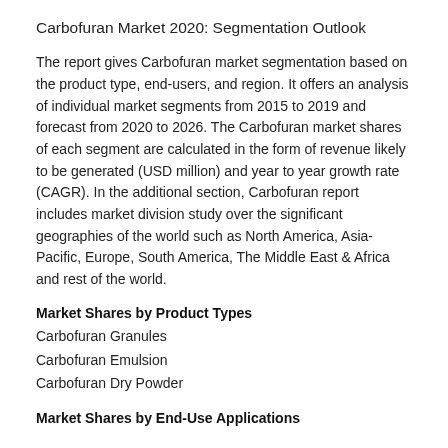Carbofuran Market 2020: Segmentation Outlook
The report gives Carbofuran market segmentation based on the product type, end-users, and region. It offers an analysis of individual market segments from 2015 to 2019 and forecast from 2020 to 2026. The Carbofuran market shares of each segment are calculated in the form of revenue likely to be generated (USD million) and year to year growth rate (CAGR). In the additional section, Carbofuran report includes market division study over the significant geographies of the world such as North America, Asia-Pacific, Europe, South America, The Middle East & Africa and rest of the world.
Market Shares by Product Types
Carbofuran Granules
Carbofuran Emulsion
Carbofuran Dry Powder
Market Shares by End-Use Applications